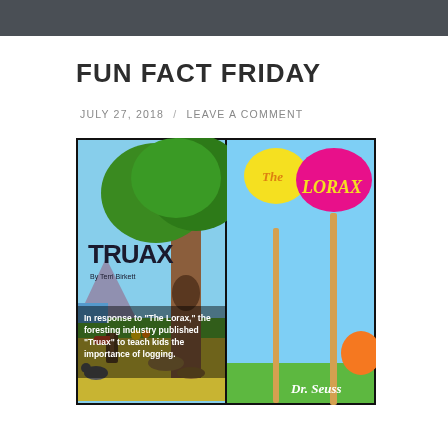FUN FACT FRIDAY
JULY 27, 2018 / LEAVE A COMMENT
[Figure (photo): Side-by-side comparison of two book covers: on the left, 'TRUAX by Terri Birkett' showing a forest scene with a large tree and a character holding an axe; on the right, 'The Lorax by Dr. Seuss' showing the iconic colorful truffula trees against a blue sky. A white text overlay reads: 'In response to "The Lorax," the foresting industry published "Truax" to teach kids the importance of logging.']